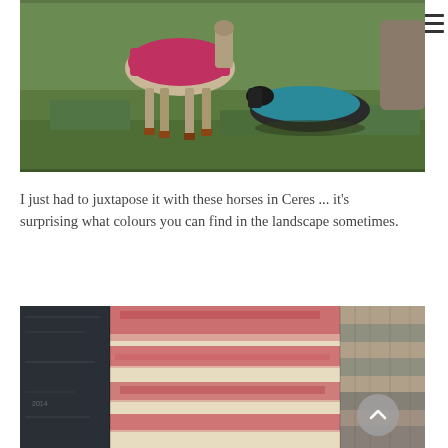[Figure (photo): Two horses wearing colourful blankets/rugs in a green grassy field. One horse standing with a red/pink rug, another lying down with a blue/teal rug.]
I just had to juxtapose it with these horses in Ceres ... it's surprising what colours you can find in the landscape sometimes.
[Figure (photo): A collage or close-up image showing textured fabric or textile patterns — dark grey on the left, a red and cream/beige patterned section in the center, and a striped grey/beige section on the right.]